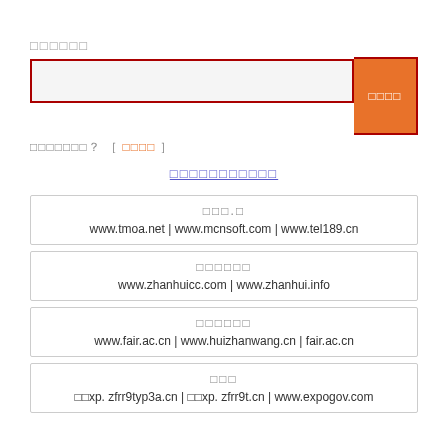□□□□□□
□□□□□□□? [ □□□□ ]
□□□□
□□□□□□□□□□□
□□□.□
www.tmoa.net | www.mcnsoft.com | www.tel189.cn
□□□□□□
www.zhanhuicc.com | www.zhanhui.info
□□□□□□
www.fair.ac.cn | www.huizhanwang.cn | fair.ac.cn
□□□
□□xp. zfrr9typ3a.cn | □□xp. zfrr9t.cn | www.expogov.com